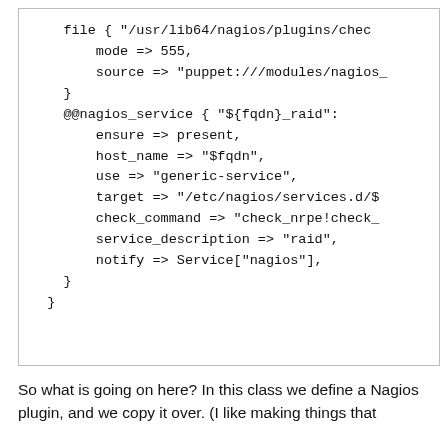file { "/usr/lib64/nagios/plugins/chec
    mode => 555,
    source => "puppet:///modules/nagios_
}
@@nagios_service { "${fqdn}_raid":
    ensure => present,
    host_name => "$fqdn",
    use => "generic-service",
    target => "/etc/nagios/services.d/$
    check_command => "check_nrpe!check_
    service_description => "raid",
    notify => Service["nagios"],
}
}
So what is going on here? In this class we define a Nagios plugin, and we copy it over. (I like making things that